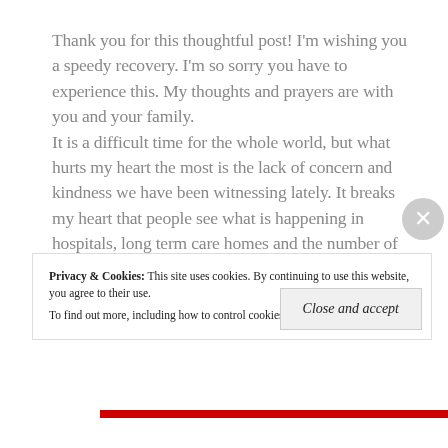Thank you for this thoughtful post! I'm wishing you a speedy recovery. I'm so sorry you have to experience this. My thoughts and prayers are with you and your family.
It is a difficult time for the whole world, but what hurts my heart the most is the lack of concern and kindness we have been witnessing lately. It breaks my heart that people see what is happening in hospitals, long term care homes and the number of deaths being reported everyday and yet they are more concerned with their personal freedoms and trying to convince everyone it's
Privacy & Cookies: This site uses cookies. By continuing to use this website, you agree to their use.
To find out more, including how to control cookies, see here: Cookie Policy
Close and accept